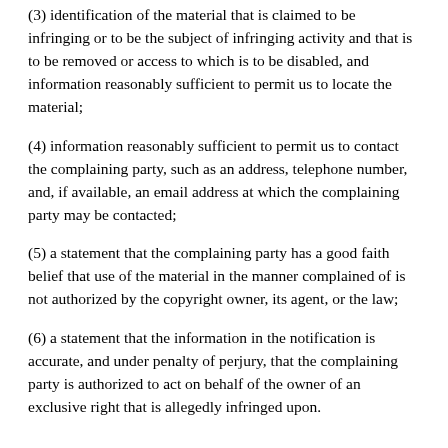(3) identification of the material that is claimed to be infringing or to be the subject of infringing activity and that is to be removed or access to which is to be disabled, and information reasonably sufficient to permit us to locate the material;
(4) information reasonably sufficient to permit us to contact the complaining party, such as an address, telephone number, and, if available, an email address at which the complaining party may be contacted;
(5) a statement that the complaining party has a good faith belief that use of the material in the manner complained of is not authorized by the copyright owner, its agent, or the law;
(6) a statement that the information in the notification is accurate, and under penalty of perjury, that the complaining party is authorized to act on behalf of the owner of an exclusive right that is allegedly infringed upon.